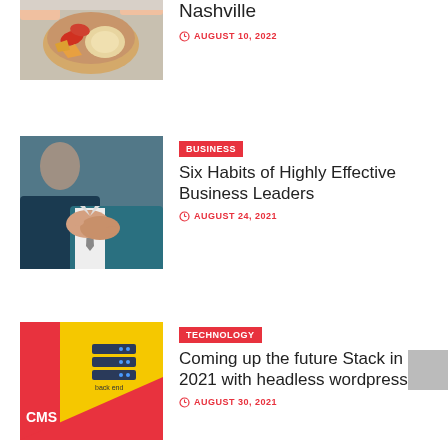[Figure (photo): Partial view of food dish with hummus and vegetables]
Nashville
AUGUST 10, 2022
[Figure (photo): Two business people shaking hands]
BUSINESS
Six Habits of Highly Effective Business Leaders
AUGUST 24, 2021
[Figure (illustration): CMS technology graphic with server stack icon on yellow and red background]
TECHNOLOGY
Coming up the future Stack in 2021 with headless wordpress
AUGUST 30, 2021